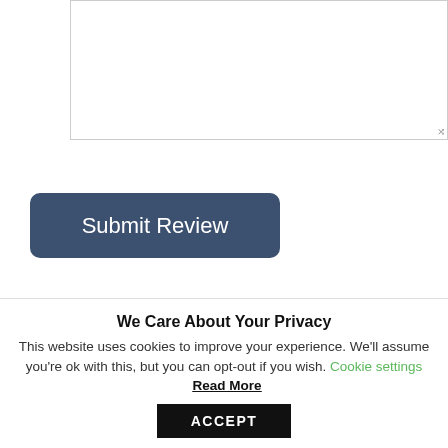[Figure (other): Text input textarea box with resize handle]
Submit Review
Hostinger VPS (VPS Hosting) Review
SiteGround Managed WordPress Hosting Start Up Plan Review
We Care About Your Privacy
This website uses cookies to improve your experience. We'll assume you're ok with this, but you can opt-out if you wish. Cookie settings Read More
ACCEPT